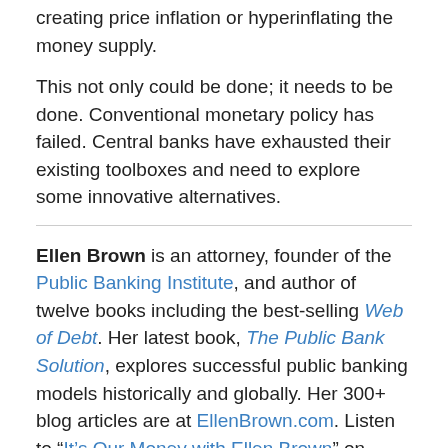creating price inflation or hyperinflating the money supply.
This not only could be done; it needs to be done. Conventional monetary policy has failed. Central banks have exhausted their existing toolboxes and need to explore some innovative alternatives.
Ellen Brown is an attorney, founder of the Public Banking Institute, and author of twelve books including the best-selling Web of Debt. Her latest book, The Public Bank Solution, explores successful public banking models historically and globally. Her 300+ blog articles are at EllenBrown.com. Listen to “It’s Our Money with Ellen Brown” on PRN.FM.
from the archives: